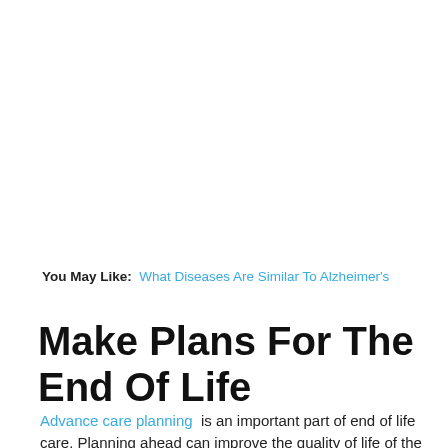You May Like: What Diseases Are Similar To Alzheimer's
Make Plans For The End Of Life
Advance care planning is an important part of end of life care. Planning ahead can improve the quality of life of the